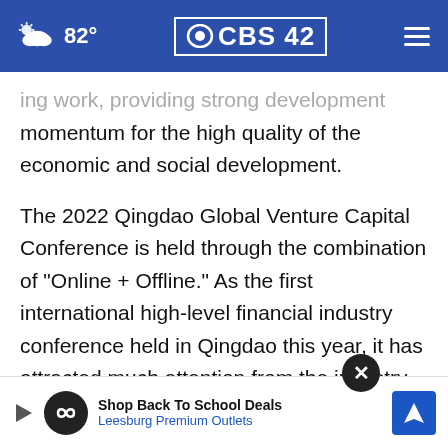82° CBS 42
ing work, providing strong development momentum for the high quality of the economic and social development.
The 2022 Qingdao Global Venture Capital Conference is held through the combination of "Online + Offline." As the first international high-level financial industry conference held in Qingdao this year, it has attracted much attention from the industry. Representatives from [Shanghai Stock Exchange, Shenzhen Stock Exchange...] attended
[Figure (screenshot): Advertisement overlay: Shop Back To School Deals - Leesburg Premium Outlets, with navigation icon and close button]